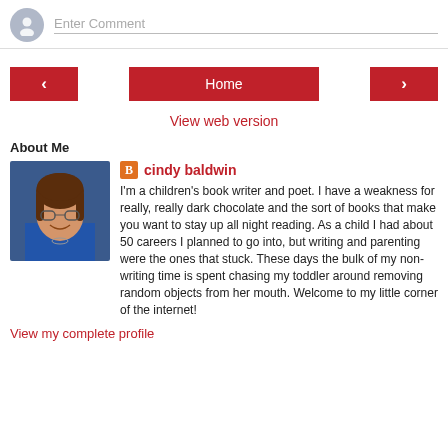[Figure (other): Comment input area with avatar circle and 'Enter Comment' placeholder text field]
[Figure (other): Navigation buttons: left arrow, Home button, right arrow in red]
View web version
About Me
[Figure (photo): Photo of Cindy Baldwin smiling, wearing glasses and blue top]
cindy baldwin
I'm a children's book writer and poet. I have a weakness for really, really dark chocolate and the sort of books that make you want to stay up all night reading. As a child I had about 50 careers I planned to go into, but writing and parenting were the ones that stuck. These days the bulk of my non-writing time is spent chasing my toddler around removing random objects from her mouth. Welcome to my little corner of the internet!
View my complete profile